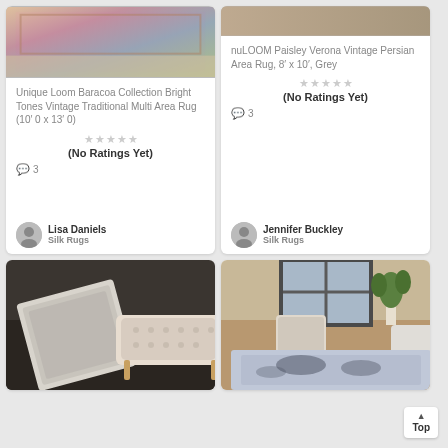[Figure (photo): Top of a colorful vintage multi-area rug]
Unique Loom Baracoa Collection Bright Tones Vintage Traditional Multi Area Rug (10' 0 x 13' 0)
(No Ratings Yet)
3
Lisa Daniels
Silk Rugs
[Figure (photo): nuLOOM Paisley Verona Vintage Persian Area Rug photo]
nuLOOM Paisley Verona Vintage Persian Area Rug, 8' x 10', Grey
(No Ratings Yet)
3
Jennifer Buckley
Silk Rugs
[Figure (photo): Grey runner rug on dark hardwood floor next to tufted bench]
[Figure (photo): Blue and grey vintage area rug in living room setting]